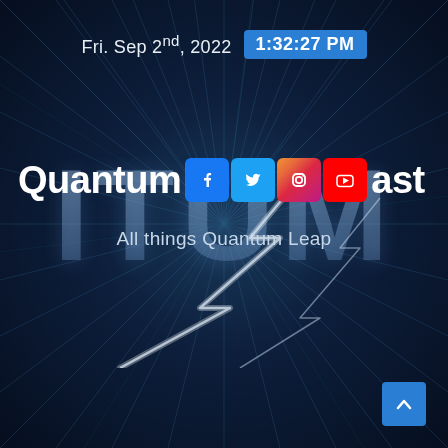[Figure (screenshot): Dark space/warp-speed background with radial light rays, large ghosted 'ITUM' text, and lightning bolt effects]
Fri. Sep 2nd, 2022  1:32:27 PM
Quantum Leap Podcast
All things Quantum Leap